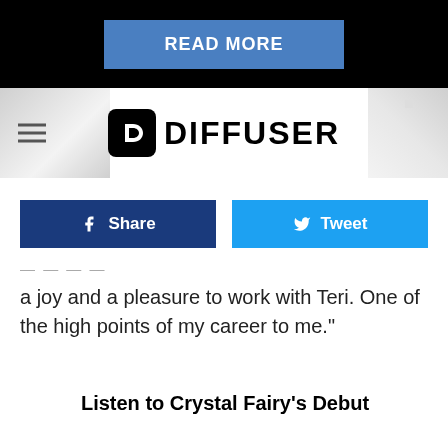[Figure (screenshot): READ MORE button on black background bar]
DIFFUSER
[Figure (screenshot): Facebook Share and Twitter Tweet buttons]
a joy and a pleasure to work with Teri. One of the high points of my career to me."
Listen to Crystal Fairy's Debut